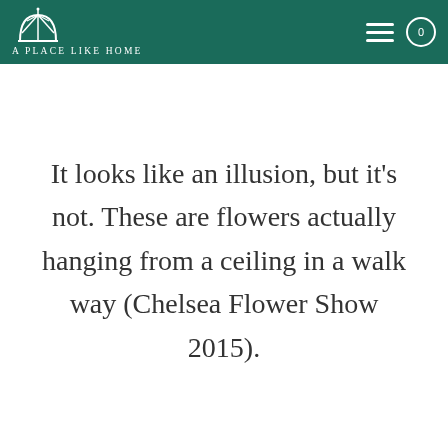A PLACE LIKE HOME
It looks like an illusion, but it's not. These are flowers actually hanging from a ceiling in a walk way (Chelsea Flower Show 2015).